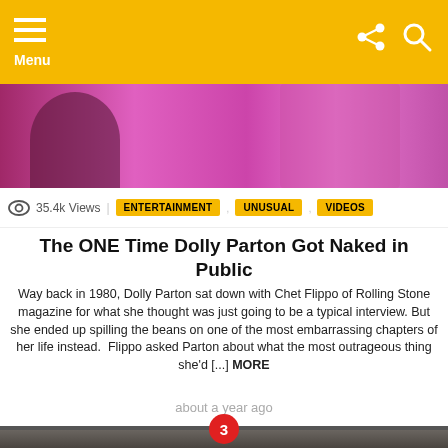Menu
[Figure (photo): Top portion of image showing people in colorful pink/magenta outfits]
35.4k Views  ENTERTAINMENT  UNUSUAL  VIDEOS
The ONE Time Dolly Parton Got Naked in Public
Way back in 1980, Dolly Parton sat down with Chet Flippo of Rolling Stone magazine for what she thought was just going to be a typical interview. But she ended up spilling the beans on one of the most embarrassing chapters of her life instead.  Flippo asked Parton about what the most outrageous thing she'd [...] MORE
about a year ago
[Figure (photo): Person wearing a cowboy hat with silver/white hair, with a play button overlay indicating a video. Number badge '3' at top.]